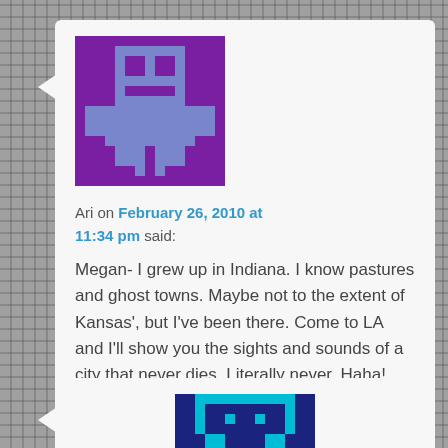[Figure (illustration): Pixel art avatar with purple background, blue/purple character figure]
Ari on February 26, 2010 at 11:34 pm said:
Megan- I grew up in Indiana. I know pastures and ghost towns. Maybe not to the extent of Kansas', but I've been there. Come to LA and I'll show you the sights and sounds of a city that never dies. Literally never. Haha!
[Figure (illustration): Pixel art avatar with dark blue/teal character on dark blue background]